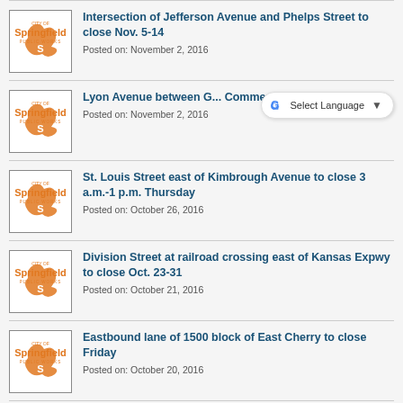Intersection of Jefferson Avenue and Phelps Street to close Nov. 5-14
Posted on: November 2, 2016
Lyon Avenue between G... Commercial to close Nov...?
Posted on: November 2, 2016
St. Louis Street east of Kimbrough Avenue to close 3 a.m.-1 p.m. Thursday
Posted on: October 26, 2016
Division Street at railroad crossing east of Kansas Expwy to close Oct. 23-31
Posted on: October 21, 2016
Eastbound lane of 1500 block of East Cherry to close Friday
Posted on: October 20, 2016